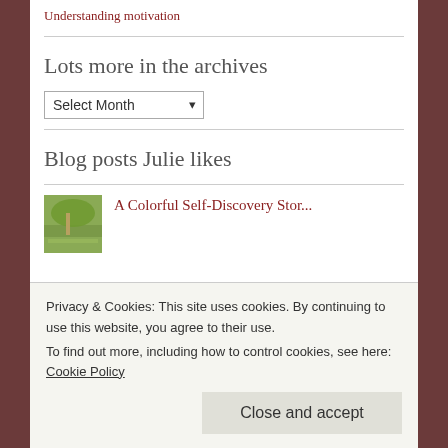Understanding motivation
Lots more in the archives
Select Month
Blog posts Julie likes
[Figure (photo): Thumbnail image of outdoor scene with green umbrella/canopy]
A Colorful Self-Discovery Stor...
Privacy & Cookies: This site uses cookies. By continuing to use this website, you agree to their use.
To find out more, including how to control cookies, see here: Cookie Policy
Close and accept